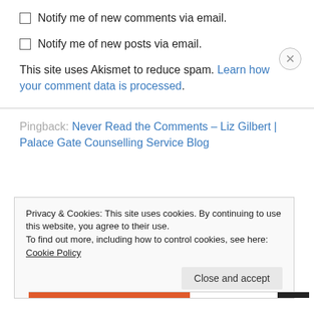Notify me of new comments via email.
Notify me of new posts via email.
This site uses Akismet to reduce spam. Learn how your comment data is processed.
Pingback: Never Read the Comments – Liz Gilbert | Palace Gate Counselling Service Blog
Privacy & Cookies: This site uses cookies. By continuing to use this website, you agree to their use.
To find out more, including how to control cookies, see here: Cookie Policy